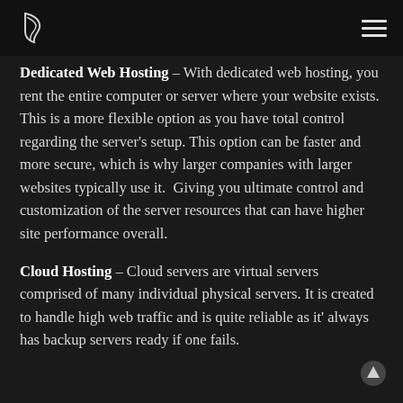[Logo] [Hamburger menu]
Dedicated Web Hosting – With dedicated web hosting, you rent the entire computer or server where your website exists. This is a more flexible option as you have total control regarding the server's setup. This option can be faster and more secure, which is why larger companies with larger websites typically use it.  Giving you ultimate control and customization of the server resources that can have higher site performance overall.
Cloud Hosting – Cloud servers are virtual servers comprised of many individual physical servers. It is created to handle high web traffic and is quite reliable as it' always has backup servers ready if one fails.